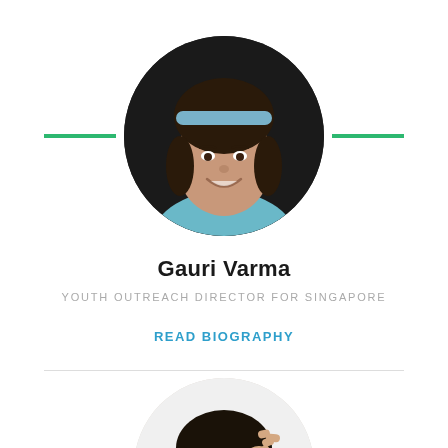[Figure (photo): Circular portrait photo of Gauri Varma, a young girl smiling, wearing a light blue headband and top, against a dark background.]
Gauri Varma
YOUTH OUTREACH DIRECTOR FOR SINGAPORE
READ BIOGRAPHY
[Figure (photo): Circular portrait photo of a second person, partially visible at the bottom of the page, showing a young person with dark hair making a hand gesture near their head.]